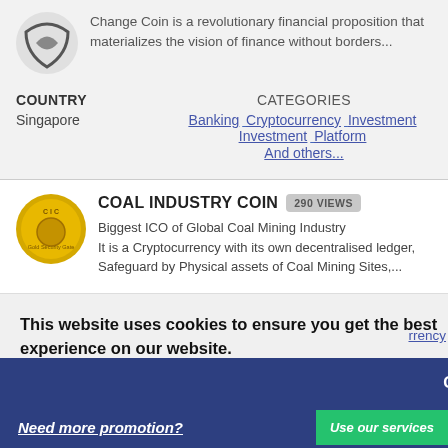Change Coin is a revolutionary financial proposition that materializes the vision of finance without borders...
COUNTRY
Singapore
CATEGORIES
Banking Cryptocurrency Investment Investment Platform And others...
COAL INDUSTRY COIN
290 VIEWS
Biggest ICO of Global Coal Mining Industry It is a Cryptocurrency with its own decentralised ledger, Safeguard by Physical assets of Coal Mining Sites,...
This website uses cookies to ensure you get the best experience on our website.
Learn more
Got it!
Need more promotion?
Use our services